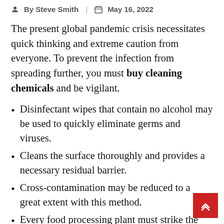By Steve Smith | May 16, 2022
The present global pandemic crisis necessitates quick thinking and extreme caution from everyone. To prevent the infection from spreading further, you must buy cleaning chemicals and be vigilant.
Disinfectant wipes that contain no alcohol may be used to quickly eliminate germs and viruses.
Cleans the surface thoroughly and provides a necessary residual barrier.
Cross-contamination may be reduced to a great extent with this method.
Every food processing plant must strike the correct balance between sanitization